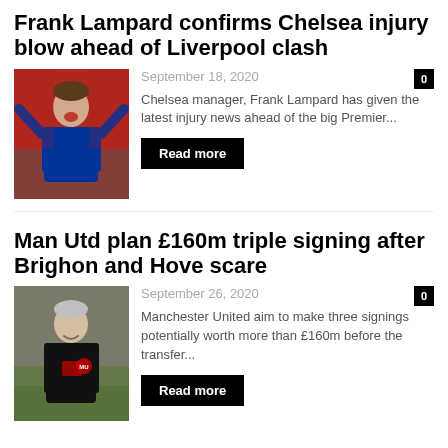Frank Lampard confirms Chelsea injury blow ahead of Liverpool clash
September 18, 2020
[Figure (photo): Frank Lampard celebrating, wearing a blue jacket, Premier League match background]
Chelsea manager, Frank Lampard has given the latest injury news ahead of the big Premier...
Read more
Man Utd plan £160m triple signing after Brighon and Hove scare
September 26, 2020
[Figure (photo): Ole Gunnar Solskjaer smiling, wearing black Manchester United jacket, training ground background]
Manchester United aim to make three signings potentially worth more than £160m before the transfer...
Read more